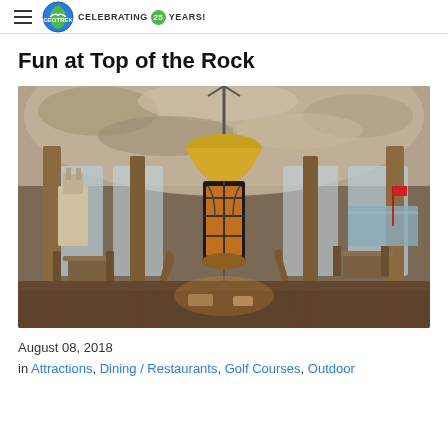CELEBRATING 25 YEARS!
Fun at Top of the Rock
[Figure (photo): Interior of Top of the Rock restaurant showing a large ornate hanging lantern fireplace in the center, rustic stone ceiling, wooden pillars, dining tables with chairs, and panoramic windows with views of a castle tower and lake outside.]
August 08, 2018
in Attractions, Dining / Restaurants, Golf Courses, Outdoor